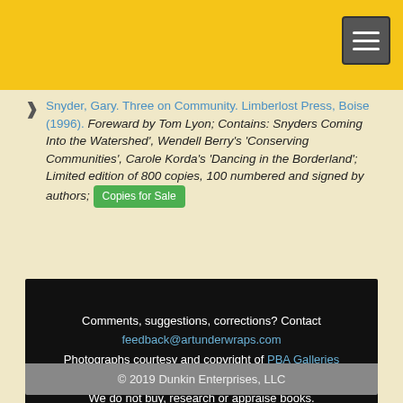[Figure (other): Yellow header bar with hamburger menu button in top right corner]
Snyder, Gary. Three on Community. Limberlost Press, Boise (1996). Foreward by Tom Lyon; Contains: Snyders Coming Into the Watershed', Wendell Berry's 'Conserving Communities', Carole Korda's 'Dancing in the Borderland'; Limited edition of 800 copies, 100 numbered and signed by authors; Copies for Sale
Comments, suggestions, corrections? Contact feedback@artunderwraps.com Photographs courtesy and copyright of PBA Galleries We are an Abebooks Affiliate We do not buy, research or appraise books. © 2019 Dunkin Enterprises, LLC